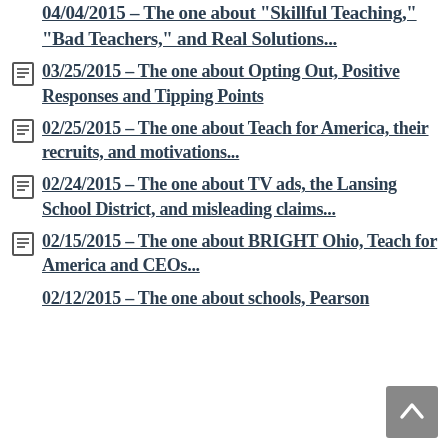04/04/2015 – The one about "Skillful Teaching," "Bad Teachers," and Real Solutions...
03/25/2015 – The one about Opting Out, Positive Responses and Tipping Points
02/25/2015 – The one about Teach for America, their recruits, and motivations...
02/24/2015 – The one about TV ads, the Lansing School District, and misleading claims...
02/15/2015 – The one about BRIGHT Ohio, Teach for America and CEOs...
02/12/2015 – The one about schools, Pearson